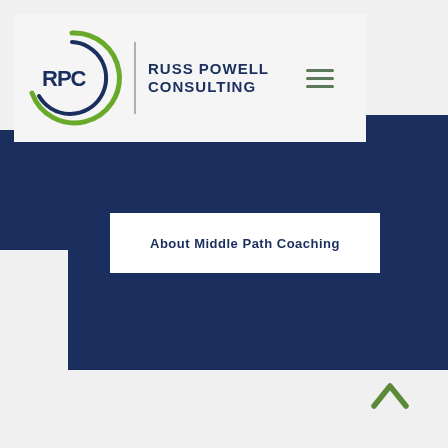[Figure (logo): RPC Russ Powell Consulting logo with circular design in dark blue and green, with hamburger menu icon]
About Middle Path Coaching
[Figure (illustration): Green chevron/caret up arrow icon]